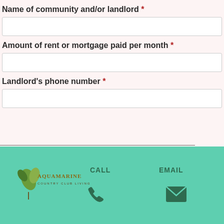Name of community and/or landlord *
Amount of rent or mortgage paid per month *
Landlord's phone number *
If you have had an additional previous address in the last two years or less, please fill CALL section b EMAIL
[Figure (logo): Aquamarine Country Club Living logo with leaf/plant graphic, phone and email icons on teal footer bar]